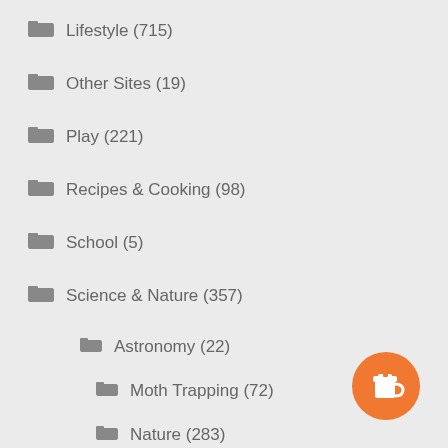Lifestyle (715)
Other Sites (19)
Play (221)
Recipes & Cooking (98)
School (5)
Science & Nature (357)
Astronomy (22)
Moth Trapping (72)
Nature (283)
Scouts (56)
[Figure (illustration): Orange circular button with coffee cup icon]